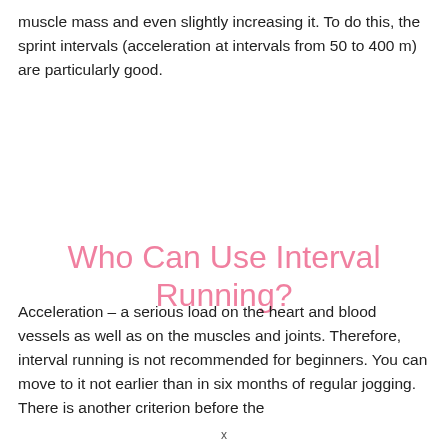muscle mass and even slightly increasing it. To do this, the sprint intervals (acceleration at intervals from 50 to 400 m) are particularly good.
Who Can Use Interval Running?
Acceleration – a serious load on the heart and blood vessels as well as on the muscles and joints. Therefore, interval running is not recommended for beginners. You can move to it not earlier than in six months of regular jogging. There is another criterion before the
x